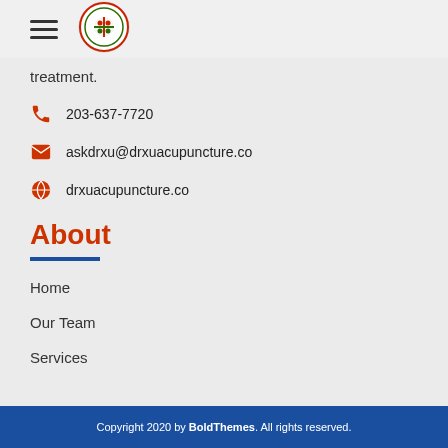[Figure (logo): Rehabilitation Medicine & Acupuncture Center circular logo with red and green design]
treatment.
203-637-7720
askdrxu@drxuacupuncture.co
drxuacupuncture.co
About
Home
Our Team
Services
Copyright 2020 by BoldThemes. All rights reserved.